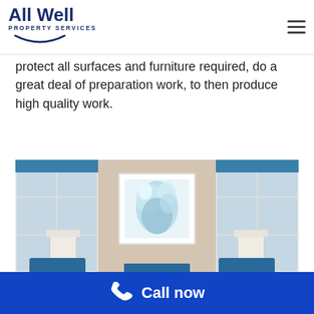[Figure (logo): All Well Property Services logo with blue text and smile arc]
protect all surfaces and furniture required, do a great deal of preparation work, to then produce high quality work.
[Figure (photo): Interior room photo showing two windows with blue curtains, a framed floral artwork on the wall between them, and two blue accent chairs with lamps]
Call now